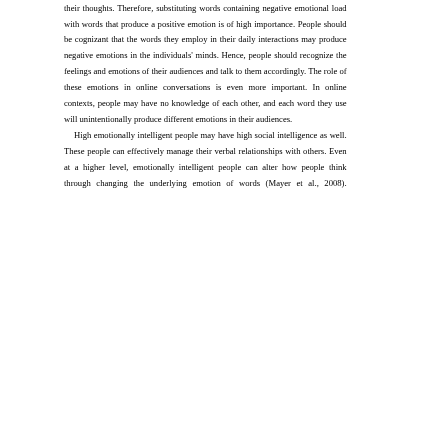their thoughts. Therefore, substituting words containing negative emotional load with words that produce a positive emotion is of high importance. People should be cognizant that the words they employ in their daily interactions may produce negative emotions in the individuals' minds. Hence, people should recognize the feelings and emotions of their audiences and talk to them accordingly. The role of these emotions in online conversations is even more important. In online contexts, people may have no knowledge of each other, and each word they use will unintentionally produce different emotions in their audiences. High emotionally intelligent people may have high social intelligence as well. These people can effectively manage their verbal relationships with others. Even at a higher level, emotionally intelligent people can alter how people think through changing the underlying emotion of words (Mayer et al., 2008). Therefore, the